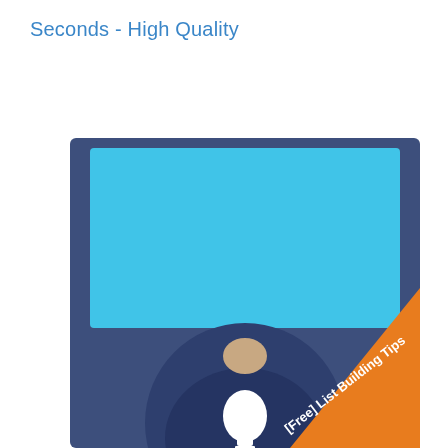Seconds - High Quality
[Figure (illustration): Book or product cover image with a dark navy blue background. A large light blue rectangle occupies the upper portion. Below it, a circular-cropped photo of a person in a dark blue shirt with a white lightbulb illustration on their chest. No face visible. An orange diagonal banner in the bottom-right corner reads '[Free] List Building Tips'.]